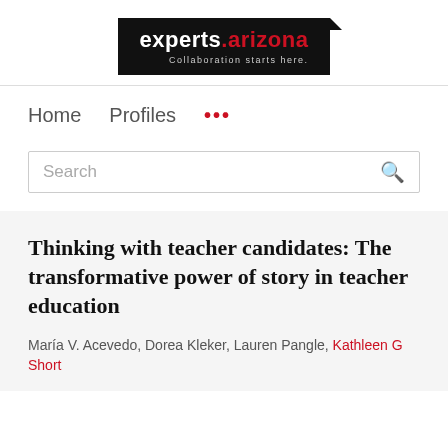[Figure (logo): experts.arizona logo — black background with white text 'experts' and red '.arizona', tagline 'Collaboration starts here.']
Home   Profiles   ...
Search
Thinking with teacher candidates: The transformative power of story in teacher education
María V. Acevedo, Dorea Kleker, Lauren Pangle, Kathleen G Short